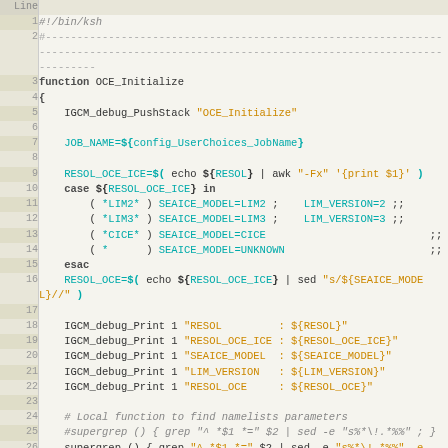[Figure (screenshot): Source code listing of a shell script function OCE_Initialize in ksh, with line numbers 1-26, showing variable assignments, case statement, and debug print calls. Syntax highlighting: keywords in bold dark, strings in orange, variables in teal.]